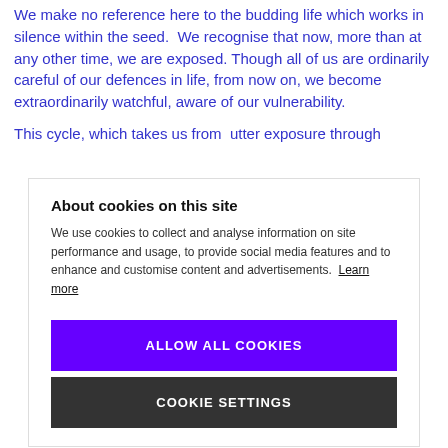We make no reference here to the budding life which works in silence within the seed.  We recognise that now, more than at any other time, we are exposed. Though all of us are ordinarily careful of our defences in life, from now on, we become extraordinarily watchful, aware of our vulnerability.
This cycle, which takes us from  utter exposure through
About cookies on this site
We use cookies to collect and analyse information on site performance and usage, to provide social media features and to enhance and customise content and advertisements. Learn more
ALLOW ALL COOKIES
COOKIE SETTINGS